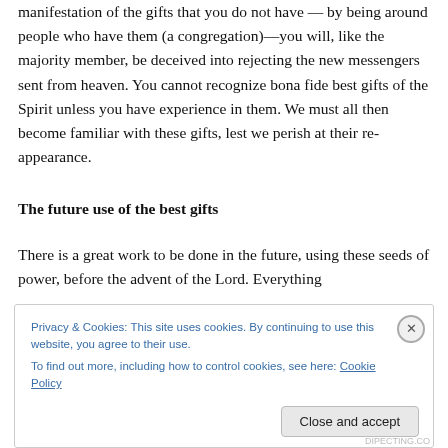manifestation of the gifts that you do not have — by being around people who have them (a congregation)—you will, like the majority member, be deceived into rejecting the new messengers sent from heaven. You cannot recognize bona fide best gifts of the Spirit unless you have experience in them. We must all then become familiar with these gifts, lest we perish at their re-appearance.
The future use of the best gifts
There is a great work to be done in the future, using these seeds of power, before the advent of the Lord. Everything
Privacy & Cookies: This site uses cookies. By continuing to use this website, you agree to their use.
To find out more, including how to control cookies, see here: Cookie Policy